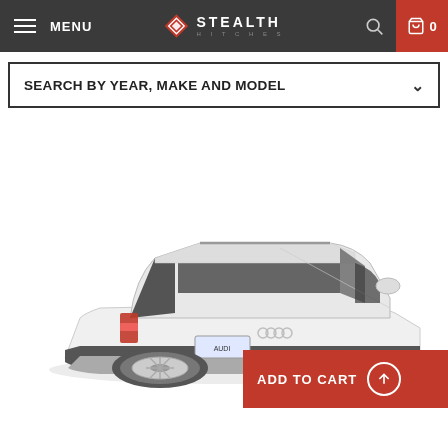MENU | STEALTH HITCHES | 0
SEARCH BY YEAR, MAKE AND MODEL
[Figure (photo): White Audi station wagon / allroad wagon shown from rear three-quarter angle on white background]
ADD TO CART